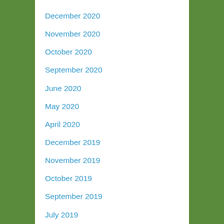December 2020
November 2020
October 2020
September 2020
June 2020
May 2020
April 2020
December 2019
November 2019
October 2019
September 2019
July 2019
December 2018
November 2018
October 2018